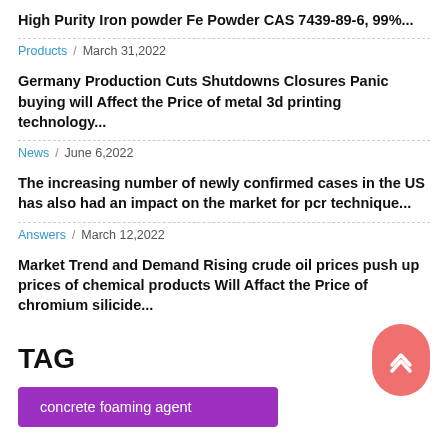High Purity Iron powder Fe Powder CAS 7439-89-6, 99%...
Products / March 31,2022
Germany Production Cuts Shutdowns Closures Panic buying will Affect the Price of metal 3d printing technology...
News / June 6,2022
The increasing number of newly confirmed cases in the US has also had an impact on the market for pcr technique...
Answers / March 12,2022
Market Trend and Demand Rising crude oil prices push up prices of chemical products Will Affact the Price of chromium silicide...
TAG
concrete foaming agent